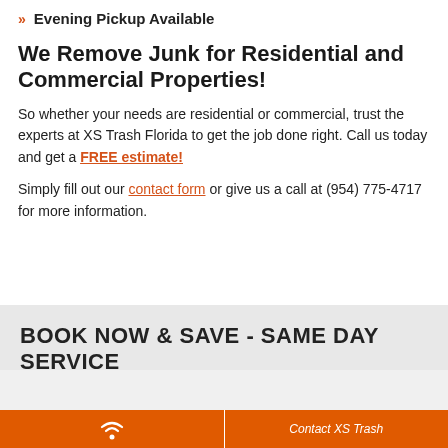Evening Pickup Available
We Remove Junk for Residential and Commercial Properties!
So whether your needs are residential or commercial, trust the experts at XS Trash Florida to get the job done right. Call us today and get a FREE estimate!
Simply fill out our contact form or give us a call at (954) 775-4717 for more information.
BOOK NOW & SAVE - SAME DAY SERVICE
Contact XS Trash